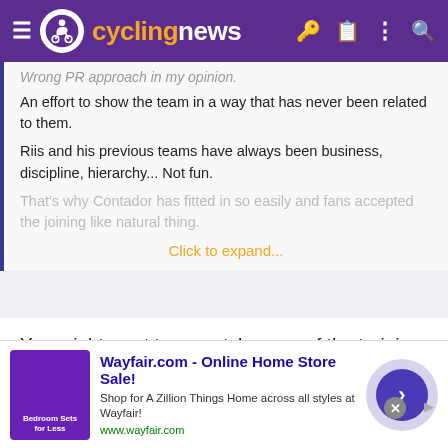cyclingnews
Wrong PR approach in my opinion.
An effort to show the team in a way that has never been related to them.
Riis and his previous teams have always been business, discipline, hierarchy... Not fun.
That's why Contador has fitted in so easily and fans accepted the joining like natural thing.
Click to expand...
You might want to re-watch some of the training camps with BS.
[Figure (screenshot): Wayfair.com advertisement banner showing 'Online Home Store Sale!' with a purple bedroom furniture promotional image, description text, URL, and a circular arrow button.]